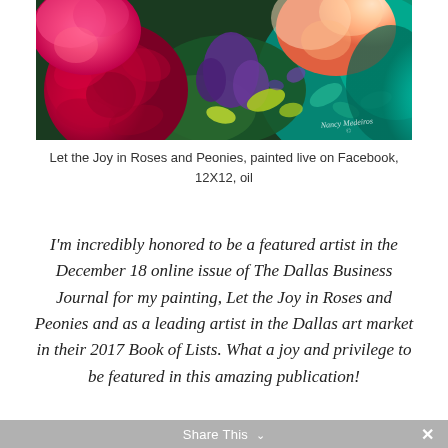[Figure (illustration): Oil painting of roses and peonies in vibrant reds, pinks, purples, and teal. Artist signature visible in lower right. Painted live on Facebook.]
Let the Joy in Roses and Peonies, painted live on Facebook, 12X12, oil
I’m incredibly honored to be a featured artist in the December 18 online issue of The Dallas Business Journal for my painting, Let the Joy in Roses and Peonies and as a leading artist in the Dallas art market in their 2017 Book of Lists. What a joy and privilege to be featured in this amazing publication!
Share This